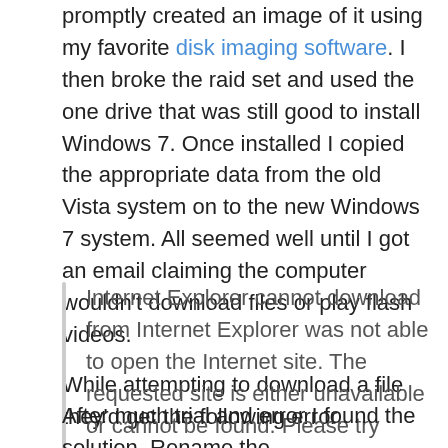promptly created an image of it using my favorite disk imaging software. I then broke the raid set and used the one drive that was still good to install Windows 7. Once installed I copied the appropriate data from the old Vista system on to the new Windows 7 system. All seemed well until I got an email claiming the computer wouldn't download files or play flash videos.
While attempting to download a file they'd get the following error.
Internet Explorer cannot download from Internet Explorer was not able to open the Internet site. The requested site is either unavailable or cannot be found. Please try again later.
After much trial and error I found the solution. Rename the...